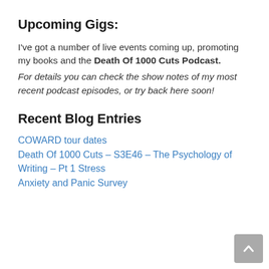Upcoming Gigs:
I've got a number of live events coming up, promoting my books and the Death Of 1000 Cuts Podcast.
For details you can check the show notes of my most recent podcast episodes, or try back here soon!
Recent Blog Entries
COWARD tour dates
Death Of 1000 Cuts – S3E46 – The Psychology of Writing – Pt 1 Stress
Anxiety and Panic Survey